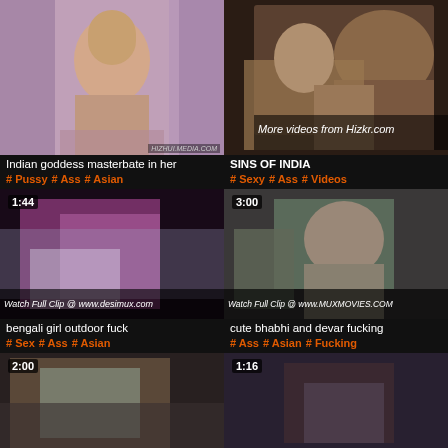[Figure (photo): Video thumbnail - Indian woman with dark hair smiling at camera, purple/pink background]
Indian goddess masterbate in her
# Pussy   # Ass   # Asian
[Figure (photo): Video thumbnail - woman reclining in embroidered outfit, overlay text: More videos from Hizkr.com]
SINS OF INDIA
# Sexy   # Ass   # Videos
[Figure (photo): Video thumbnail 1:44 - blurry outdoor scene, watermark: Watch Full Clip @ www.desimux.com]
bengali girl outdoor fuck
# Sex   # Ass   # Asian
[Figure (photo): Video thumbnail 3:00 - woman in room, watermark: Watch Full Clip @ www.MUXMOVIES.COM]
cute bhabhi and devar fucking
# Ass   # Asian   # Fucking
[Figure (photo): Video thumbnail 2:00 - partially visible, bottom row left]
[Figure (photo): Video thumbnail 1:16 - partially visible, bottom row right]